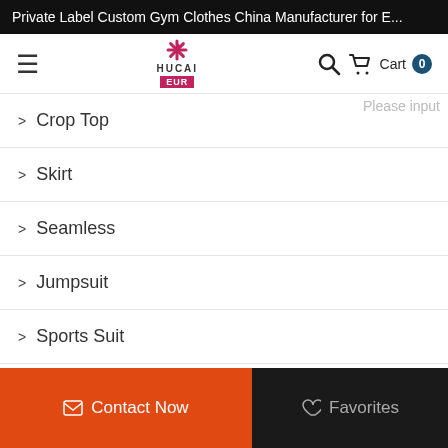Private Label Custom Gym Clothes China Manufacturer for E...
[Figure (logo): HUCAI EUR logo with pink asterisk icon and EUR badge]
Crop Top
Skirt
Seamless
Jumpsuit
Sports Suit
Jogger Pants
Contact Now
Favorites